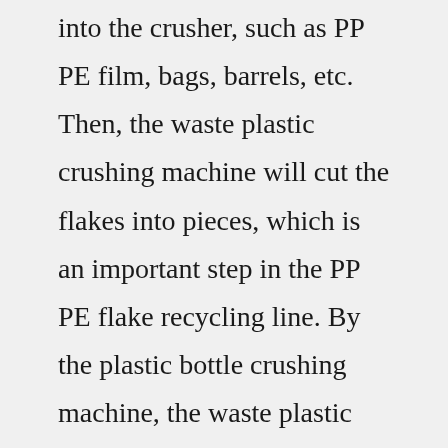into the crusher, such as PP PE film, bags, barrels, etc. Then, the waste plastic crushing machine will cut the flakes into pieces, which is an important step in the PP PE flake recycling line. By the plastic bottle crushing machine, the waste plastic bottles will be processed into flakes with indicated sizes for good washing results. As the important role in plastic recycling field, the plastic bottle crusher must have excellent performance to ensure the steady